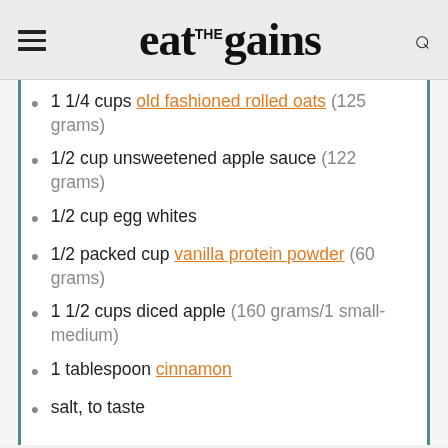eat the gains
1 1/4 cups old fashioned rolled oats (125 grams)
1/2 cup unsweetened apple sauce (122 grams)
1/2 cup egg whites
1/2 packed cup vanilla protein powder (60 grams)
1 1/2 cups diced apple (160 grams/1 small-medium)
1 tablespoon cinnamon
salt, to taste